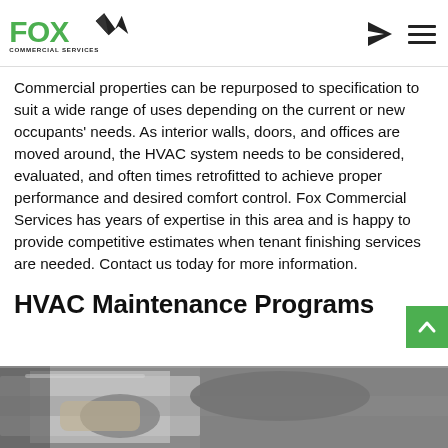Fox Commercial Services
Commercial properties can be repurposed to specification to suit a wide range of uses depending on the current or new occupants' needs. As interior walls, doors, and offices are moved around, the HVAC system needs to be considered, evaluated, and often times retrofitted to achieve proper performance and desired comfort control. Fox Commercial Services has years of expertise in this area and is happy to provide competitive estimates when tenant finishing services are needed. Contact us today for more information.
HVAC Maintenance Programs
[Figure (photo): A technician working on HVAC equipment, partial body view showing hands and arms near metal ductwork or equipment.]